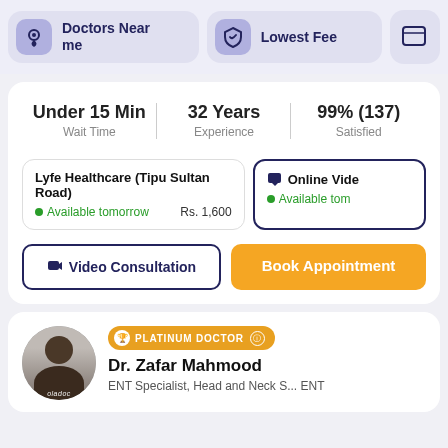[Figure (screenshot): Navigation bar with 'Doctors Near me' (location icon), 'Lowest Fee' (shield icon), and a partially visible third button]
Under 15 Min
Wait Time
32 Years
Experience
99% (137)
Satisfied
Lyfe Healthcare (Tipu Sultan Road)
Available tomorrow   Rs. 1,600
Online Vide
Available tom
Video Consultation
Book Appointment
PLATINUM DOCTOR
Dr. Zafar Mahmood
ENT Specialist, Head and Neck S... ENT